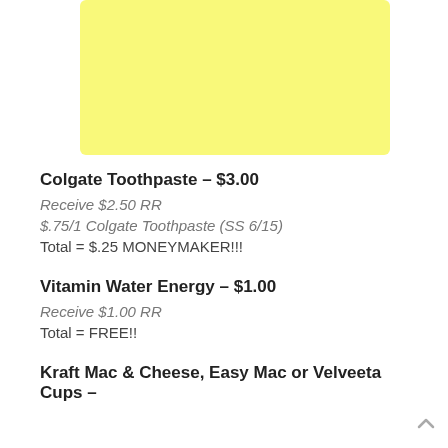[Figure (other): Yellow rounded rectangle placeholder image area]
Colgate Toothpaste – $3.00
Receive $2.50 RR
$.75/1 Colgate Toothpaste (SS 6/15)
Total = $.25 MONEYMAKER!!!
Vitamin Water Energy – $1.00
Receive $1.00 RR
Total = FREE!!
Kraft Mac & Cheese, Easy Mac or Velveeta Cups –